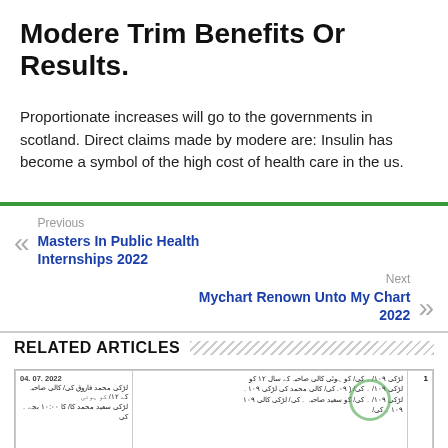Modere Trim Benefits Or Results.
Proportionate increases will go to the governments in scotland. Direct claims made by modere are: Insulin has become a symbol of the high cost of health care in the us.
Previous
Masters In Public Health Internships 2022
Next
Mychart Renown Unto My Chart 2022
RELATED ARTICLES
[Figure (other): Thumbnail image of a document with Urdu text and date 04.07.2022, with a green circular stamp overlay]